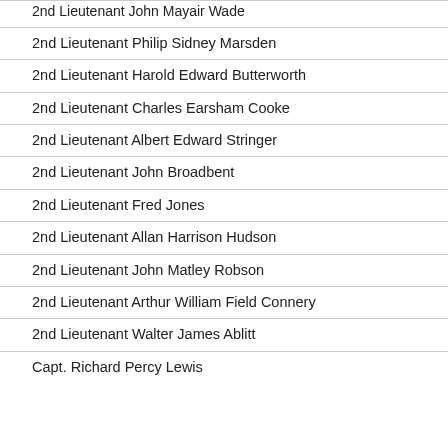2nd Lieutenant John Mayair Wade
2nd Lieutenant Philip Sidney Marsden
2nd Lieutenant Harold Edward Butterworth
2nd Lieutenant Charles Earsham Cooke
2nd Lieutenant Albert Edward Stringer
2nd Lieutenant John Broadbent
2nd Lieutenant Fred Jones
2nd Lieutenant Allan Harrison Hudson
2nd Lieutenant John Matley Robson
2nd Lieutenant Arthur William Field Connery
2nd Lieutenant Walter James Ablitt
Capt. Richard Percy Lewis